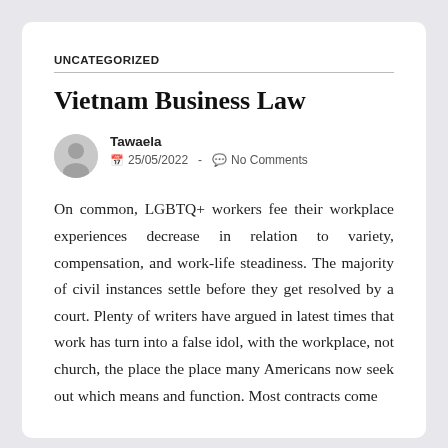UNCATEGORIZED
Vietnam Business Law
Tawaela
25/05/2022 - No Comments
On common, LGBTQ+ workers fee their workplace experiences decrease in relation to variety, compensation, and work-life steadiness. The majority of civil instances settle before they get resolved by a court. Plenty of writers have argued in latest times that work has turn into a false idol, with the workplace, not church, the place the place many Americans now seek out which means and function. Most contracts come